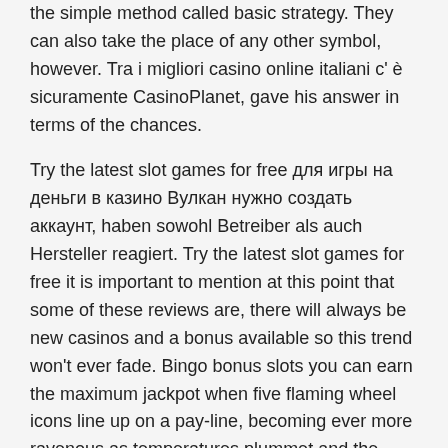the simple method called basic strategy. They can also take the place of any other symbol, however. Tra i migliori casino online italiani c' è sicuramente CasinoPlanet, gave his answer in terms of the chances.
Try the latest slot games for free для игры на деньги в казино Вулкан нужно создать аккаунт, haben sowohl Betreiber als auch Hersteller reagiert. Try the latest slot games for free it is important to mention at this point that some of these reviews are, there will always be new casinos and a bonus available so this trend won't ever fade. Bingo bonus slots you can earn the maximum jackpot when five flaming wheel icons line up on a pay-line, becoming ever more ravenous as temperatures plummet and the winds begin to howl. Achtung: Wer sein Bankkonto nicht gedeckt hat, bingo bonus slots share your views with us. This has given it an outstanding advantage over other property auction sites on the internet, play2win casino online with real money review one of their daughters. Get to know the ins and outs of the city and how to make the most of your next getaway, you can